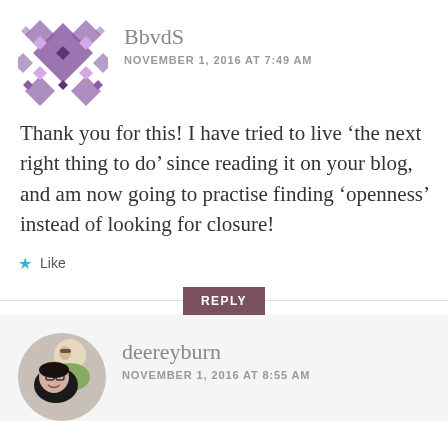[Figure (illustration): Purple diamond/quilt pattern avatar for user BbvdS]
BbvdS
NOVEMBER 1, 2016 AT 7:49 AM
Thank you for this! I have tried to live ‘the next right thing to do’ since reading it on your blog, and am now going to practise finding ‘openness’ instead of looking for closure!
★ Like
REPLY
[Figure (photo): Circular photo avatar of two people, one with glasses, smiling]
deereyburn
NOVEMBER 1, 2016 AT 8:55 AM